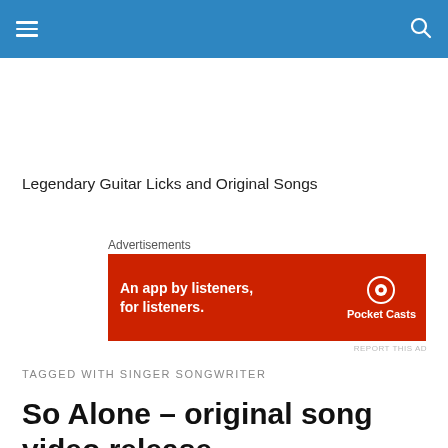navigation bar with hamburger menu and search icon
Legendary Guitar Licks and Original Songs
Advertisements
[Figure (other): Pocket Casts advertisement banner: red background with text 'An app by listeners, for listeners.' and Pocket Casts logo with phone image]
REPORT THIS AD
TAGGED WITH SINGER SONGWRITER
So Alone – original song video release